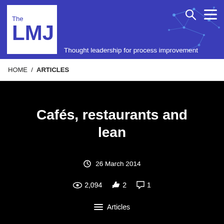[Figure (logo): The LMJ logo - white box with blue text 'The LMJ' and blue background header with network graphic, tagline: Thought leadership for process improvement]
HOME / ARTICLES
Cafés, restaurants and lean
26 March 2014
2,094 views  2 likes  1 comment
Articles